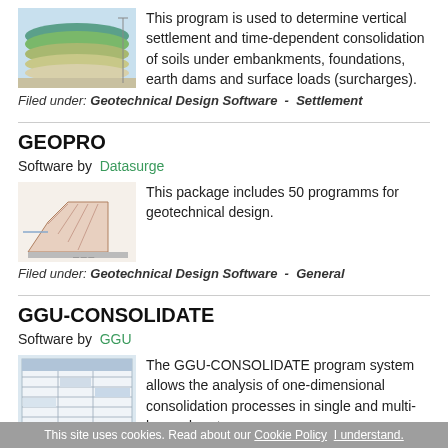This program is used to determine vertical settlement and time-dependent consolidation of soils under embankments, foundations, earth dams and surface loads (surcharges).
Filed under: Geotechnical Design Software  -  Settlement
GEOPRO
Software by  Datasurge
This package includes 50 programms for geotechnical design.
Filed under: Geotechnical Design Software  -  General
GGU-CONSOLIDATE
Software by  GGU
The GGU-CONSOLIDATE program system allows the analysis of one-dimensional consolidation processes in single and multi-layered systems.
This site uses cookies. Read about our Cookie Policy  I understand.